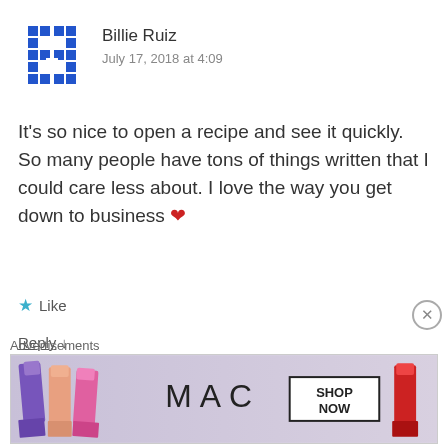[Figure (illustration): Blue pixelated/mosaic avatar icon for user Billie Ruiz]
Billie Ruiz
July 17, 2018 at 4:09
It's so nice to open a recipe and see it quickly. So many people have tons of things written that I could care less about. I love the way you get down to business ❤
★ Like
Reply ↓
[Figure (photo): Small avatar photo of a cupcake with a cherry on top for user nancyc]
nancyc  Post Author
July 18, 2018 at 5:04
Advertisements
[Figure (illustration): MAC cosmetics advertisement showing lipsticks in purple, peach, pink colors with MAC logo and SHOP NOW button and a red lipstick on the right]